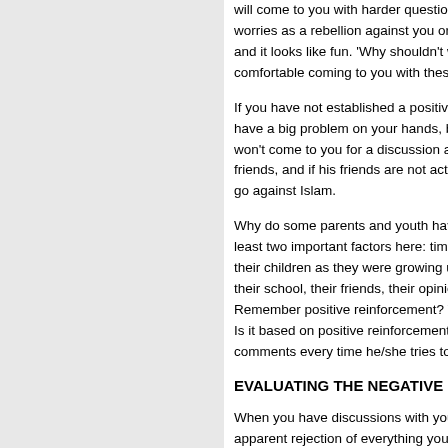will come to you with harder questions, worries as a rebellion against you or a and it looks like fun. 'Why shouldn't we comfortable coming to you with these i
If you have not established a positive r have a big problem on your hands, bec won't come to you for a discussion abo friends, and if his friends are not active go against Islam.
Why do some parents and youth have least two important factors here: time a their children as they were growing up' their school, their friends, their opinion Remember positive reinforcement? Wh Is it based on positive reinforcement, c comments every time he/she tries to ta
EVALUATING THE NEGATIVE
When you have discussions with your y apparent rejection of everything you sa understand, or you don't care about hi he does not feel comfortable with the a what he is feeling at that moment, or m friends and they have rejected that opi
Although it is very hard, remain kind ar hear these comments, but they are not he/she is now undertaking.